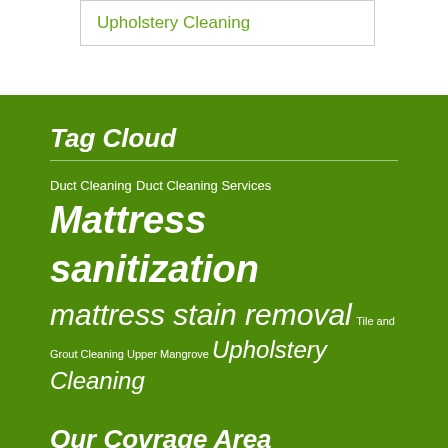Upholstery Cleaning
Tag Cloud
Duct Cleaning Duct Cleaning Services Mattress sanitization mattress stain removal Tile and Grout Cleaning Upper Mangrove Upholstery Cleaning
Our Covrage Area
Tile and Grout Cleaning Frins Fair...